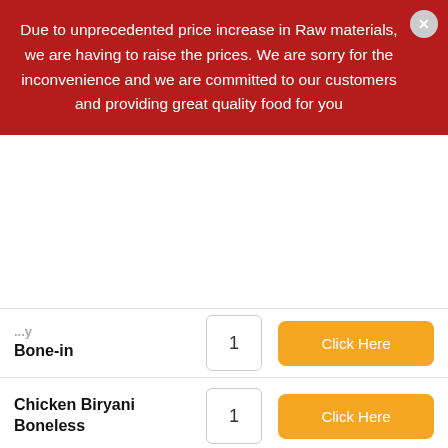Due to unprecedented price increase in Raw materials, we are having to raise the prices. We are sorry for the inconvenience and we are committed to our customers and providing great quality food for you
| Item | Qty | Action |
| --- | --- | --- |
| Bone-in | 1 | Click Here |
| Chicken Biryani Boneless | 1 | Click Here |
| Chicken Fried Rice | 1 | Click Here |
| Egg Fried Rice | 1 | Click Here |
| Guntur Chicken Biryani | 1 | Click Here |